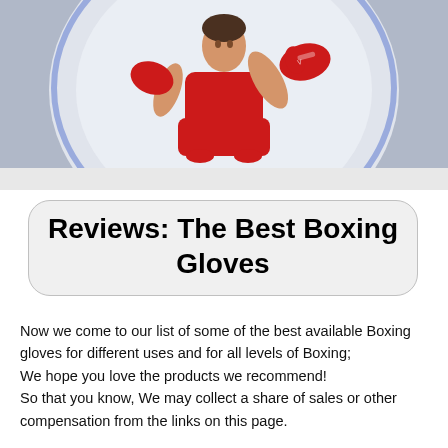[Figure (photo): A male boxer wearing red boxing gloves, red tank top, and red shorts, in a fighting stance punching forward, with a spotlight circle effect on a grey background.]
Reviews: The Best Boxing Gloves
Now we come to our list of some of the best available Boxing gloves for different uses and for all levels of Boxing;
We hope you love the products we recommend!
So that you know, We may collect a share of sales or other compensation from the links on this page.